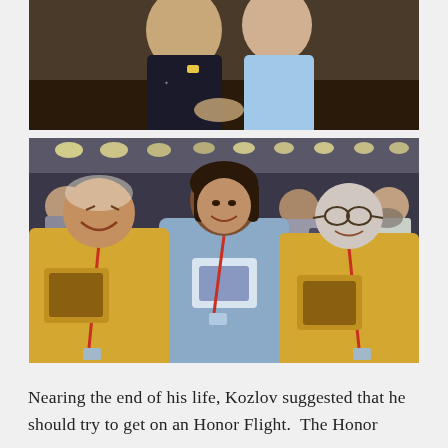[Figure (photo): Partial photo of two elderly people, cropped at top, showing upper bodies. Person on left in dark jacket, person on right in light blue top.]
[Figure (photo): Photo taken inside an airplane cabin showing a young woman in a light blue shirt with red lanyard seated between two elderly men in yellow shirts with red lanyards. Many more passengers visible in the background, some wearing caps. Overhead lights illuminate the cabin.]
Nearing the end of his life, Kozlov suggested that he should try to get on an Honor Flight.  The Honor